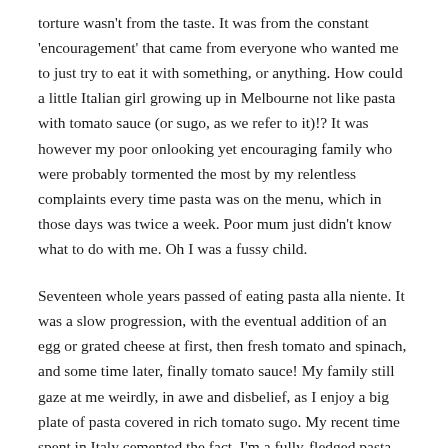torture wasn't from the taste. It was from the constant 'encouragement' that came from everyone who wanted me to just try to eat it with something, or anything. How could a little Italian girl growing up in Melbourne not like pasta with tomato sauce (or sugo, as we refer to it)!? It was however my poor onlooking yet encouraging family who were probably tormented the most by my relentless complaints every time pasta was on the menu, which in those days was twice a week. Poor mum just didn't know what to do with me. Oh I was a fussy child.
Seventeen whole years passed of eating pasta alla niente. It was a slow progression, with the eventual addition of an egg or grated cheese at first, then fresh tomato and spinach, and some time later, finally tomato sauce! My family still gaze at me weirdly, in awe and disbelief, as I enjoy a big plate of pasta covered in rich tomato sugo. My recent time spent in Italy cemented the fact. I'm a fully-fledged pasta convert. In fact, we indulged in plates full of